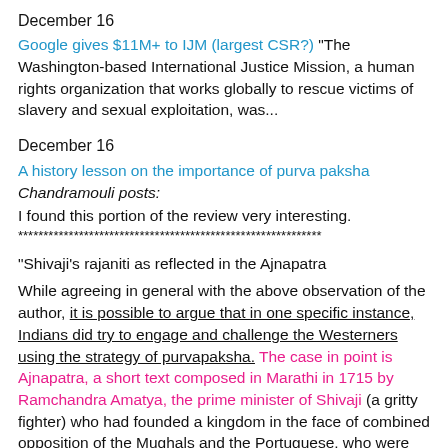December 16
Google gives $11M+ to IJM (largest CSR?) "The Washington-based International Justice Mission, a human rights organization that works globally to rescue victims of slavery and sexual exploitation, was...
December 16
A history lesson on the importance of purva paksha
Chandramouli posts:
I found this portion of the review very interesting.
************************************************************
"Shivaji's rajaniti as reflected in the Ajnapatra
While agreeing in general with the above observation of the author, it is possible to argue that in one specific instance, Indians did try to engage and challenge the Westerners using the strategy of purvapaksha. The case in point is Ajnapatra, a short text composed in Marathi in 1715 by Ramchandra Amatya, the prime minister of Shivaji (a gritty fighter) who had founded a kingdom in the face of combined opposition of the Mughals and the Portuguese, who were